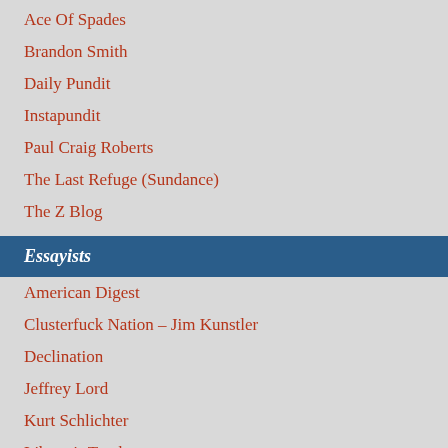Ace Of Spades
Brandon Smith
Daily Pundit
Instapundit
Paul Craig Roberts
The Last Refuge (Sundance)
The Z Blog
Essayists
American Digest
Clusterfuck Nation – Jim Kunstler
Declination
Jeffrey Lord
Kurt Schlichter
Liberty's Torch